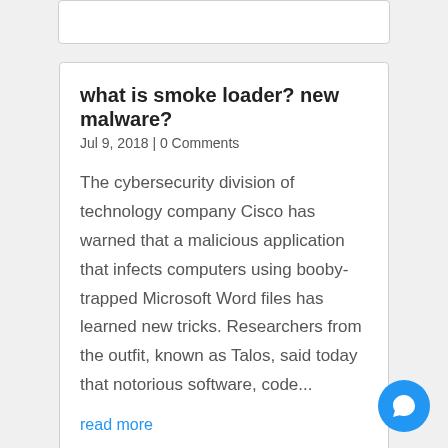what is smoke loader? new malware?
Jul 9, 2018 | 0 Comments
The cybersecurity division of technology company Cisco has warned that a malicious application that infects computers using booby-trapped Microsoft Word files has learned new tricks. Researchers from the outfit, known as Talos, said today that notorious software, code...
read more